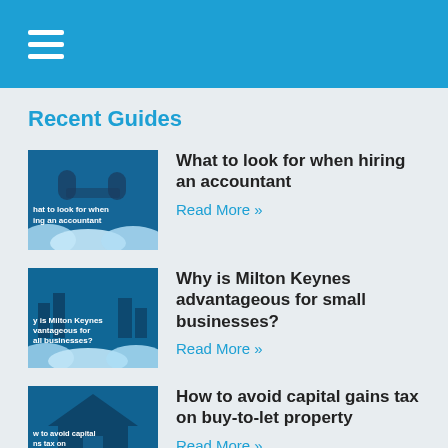Recent Guides
What to look for when hiring an accountant
Read More »
Why is Milton Keynes advantageous for small businesses?
Read More »
How to avoid capital gains tax on buy-to-let property
Read More »
[Figure (screenshot): Partial fourth guide thumbnail at bottom of page]